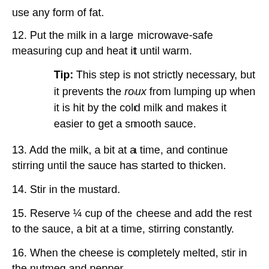use any form of fat.
12. Put the milk in a large microwave-safe measuring cup and heat it until warm.
Tip: This step is not strictly necessary, but it prevents the roux from lumping up when it is hit by the cold milk and makes it easier to get a smooth sauce.
13. Add the milk, a bit at a time, and continue stirring until the sauce has started to thicken.
14. Stir in the mustard.
15. Reserve ¼ cup of the cheese and add the rest to the sauce, a bit at a time, stirring constantly.
16. When the cheese is completely melted, stir in the nutmeg and pepper.